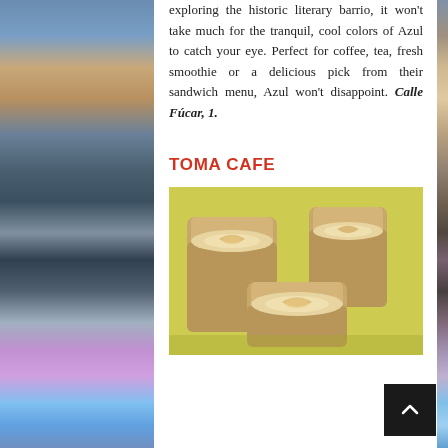exploring the historic literary barrio, it won't take much for the tranquil, cool colors of Azul to catch your eye. Perfect for coffee, tea, fresh smoothie or a delicious pick from their sandwich menu, Azul won't disappoint. Calle Fúcar, 1.
TOMA CAFE
[Figure (photo): Three paper cups of coffee with latte art, on a yellow background]